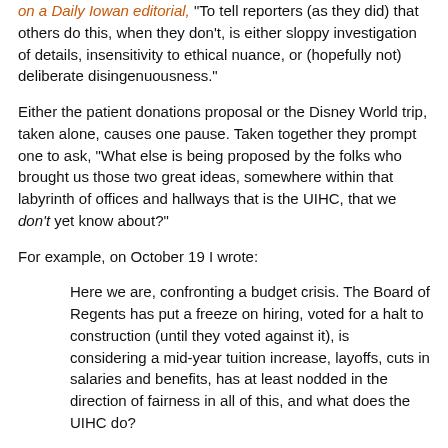on a Daily Iowan editorial, "To tell reporters (as they did) that others do this, when they don't, is either sloppy investigation of details, insensitivity to ethical nuance, or (hopefully not) deliberate disingenuousness."
Either the patient donations proposal or the Disney World trip, taken alone, causes one pause. Taken together they prompt one to ask, "What else is being proposed by the folks who brought us those two great ideas, somewhere within that labyrinth of offices and hallways that is the UIHC, that we don't yet know about?"
For example, on October 19 I wrote:
Here we are, confronting a budget crisis. The Board of Regents has put a freeze on hiring, voted for a halt to construction (until they voted against it), is considering a mid-year tuition increase, layoffs, cuts in salaries and benefits, has at least nodded in the direction of fairness in all of this, and what does the UIHC do?
Morolli reports that it, "filled a newly created